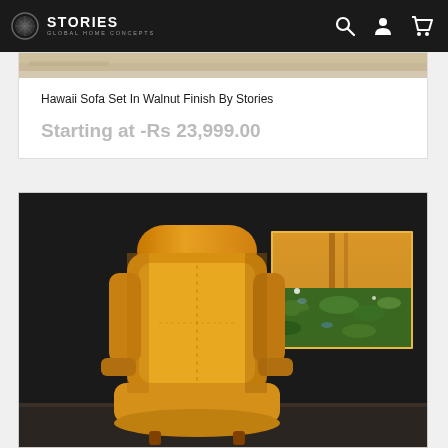STORIES GLOBAL HOME CONCEPTS — navigation bar with search, account, and cart icons
[Figure (photo): Partial product image strip showing Hawaii Sofa Set in walnut finish]
Hawaii Sofa Set In Walnut Finish By Stories
Starting at -Rs 23,999.00
[Figure (photo): Yellow leather accent chair displayed against a dark/black wall with a nature painting (green lily pads, golden tones) hanging on the wall to the right]